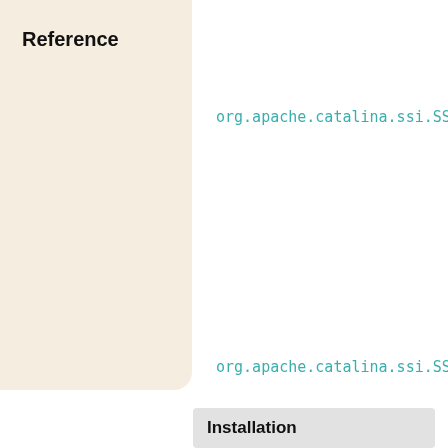Reference
org.apache.catalina.ssi.SSIS
org.apache.catalina.ssi.SSIF
Apache Tomcat Development
Installation